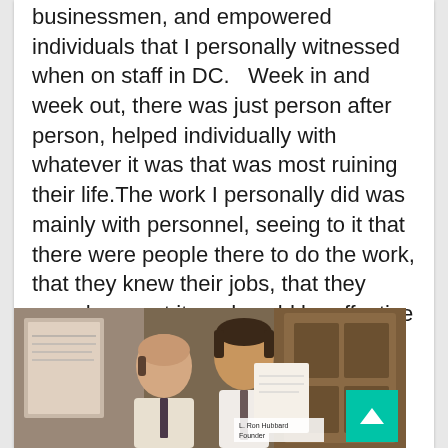businessmen, and empowered individuals that I personally witnessed when on staff in DC.   Week in and week out, there was just person after person, helped individually with whatever it was that was most ruining their life.The work I personally did was mainly with personnel, seeing to it that there were people there to do the work, that they knew their jobs, that they were happy at it, and could be effective at it.  Made it all the more fun when areas of the organization I helped establish then went on to create products like those mentioned above.
[Figure (photo): Two men in shirts and ties examining a document or book. A framed item is visible on the wall behind them. A label reading 'L. Ron Hubbard Founder' is visible in the lower right of the photo. A teal scroll-to-top button with an upward chevron is overlaid in the bottom-right corner.]